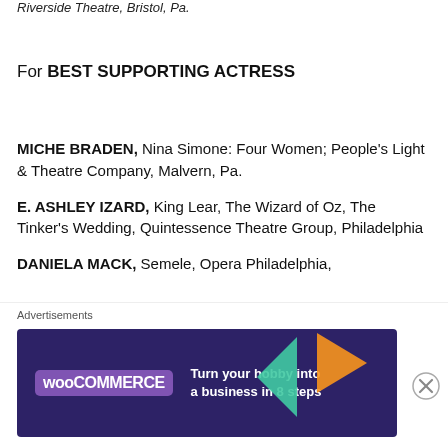Riverside Theatre, Bristol, Pa.
For BEST SUPPORTING ACTRESS
MICHE BRADEN, Nina Simone: Four Women; People's Light & Theatre Company, Malvern, Pa.
E. ASHLEY IZARD, King Lear, The Wizard of Oz, The Tinker's Wedding, Quintessence Theatre Group, Philadelphia
DANIELA MACK, Semele, Opera Philadelphia,
Advertisements
[Figure (infographic): WooCommerce advertisement banner: dark purple background with teal and orange triangle shapes, WooCommerce logo, text 'Turn your hobby into a business in 8 steps']